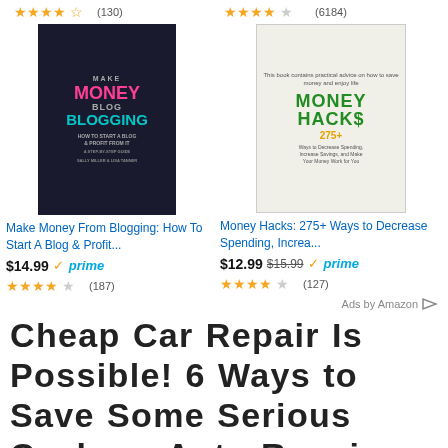[Figure (other): Amazon ad for 'Make Money From Blogging' book with star rating (130 reviews), book cover image, price $14.99, prime badge, 4-star rating (187 reviews)]
[Figure (other): Amazon ad for 'Money Hacks: 275+ Ways to Decrease Spending, Increa...' book with star rating (6184 reviews), book cover image, price $12.99 (was $15.99), prime badge, 4-star rating (127 reviews)]
Ads by Amazon
Cheap Car Repair Is Possible! 6 Ways to Save Some Serious Cash on Auto Repairs
JANUARY 22, 2019